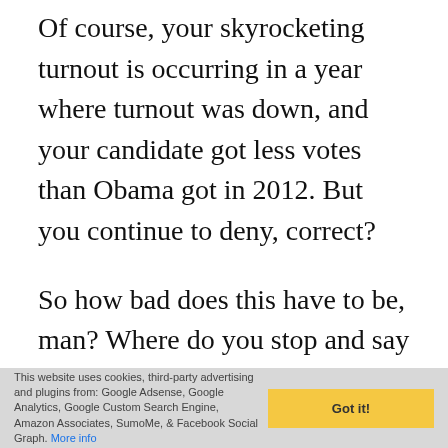Of course, your skyrocketing turnout is occurring in a year where turnout was down, and your candidate got less votes than Obama got in 2012. But you continue to deny, correct?
So how bad does this have to be, man? Where do you stop and say “OK maybe in a country where an estimated 3% of the voters on our voter registrations are known to be dead, missing, non-citizens, etc., many registered voters don’t vote, one party
This website uses cookies, third-party advertising and plugins from: Google Adsense, Google Analytics, Google Custom Search Engine, Amazon Associates, SumoMe, & Facebook Social Graph. More info